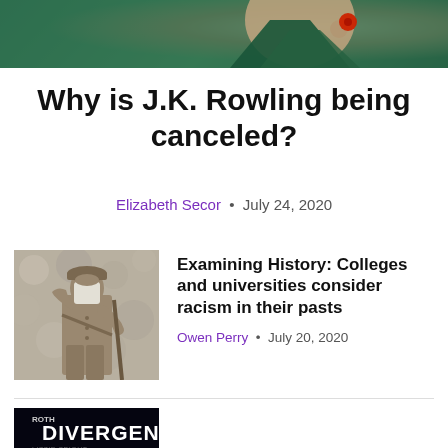[Figure (photo): Top portion of a photo showing a person wearing a green outfit with a red accessory, cropped to just show the upper torso and background]
Why is J.K. Rowling being canceled?
Elizabeth Secor • July 24, 2020
[Figure (photo): Black and white photo of a military-style statue of a young soldier saluting, with some tissue or paper placed on the face]
Examining History: Colleges and universities consider racism in their pasts
Owen Perry • July 20, 2020
[Figure (photo): Partially visible book cover showing 'DIVERGENT' by Veronica Roth with dark background and white text]